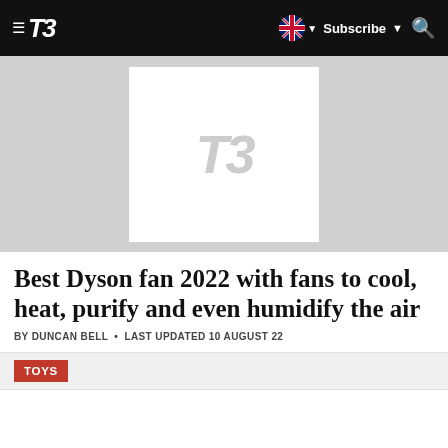T3 — Subscribe
[Figure (screenshot): T3 website hero image placeholder with T3 watermark logo on grey background]
Best Dyson fan 2022 with fans to cool, heat, purify and even humidify the air
BY DUNCAN BELL • LAST UPDATED 10 AUGUST 22
TOYS